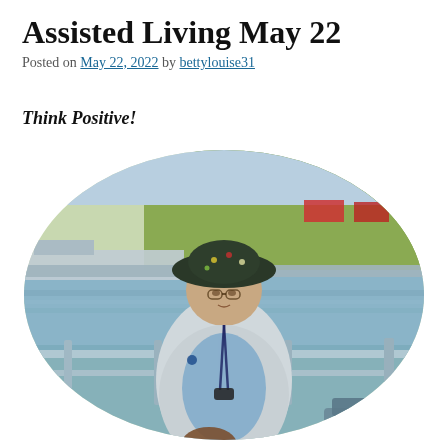Assisted Living May 22
Posted on May 22, 2022 by bettylouise31
Think Positive!
[Figure (photo): An older woman wearing a floral bucket hat and a light grey jacket over a blue t-shirt, standing on what appears to be a boat or ferry deck with metal railings. Behind her is a river scene with docked boats, green hills, and parked vehicles. The image is cropped in an oval/circle shape.]